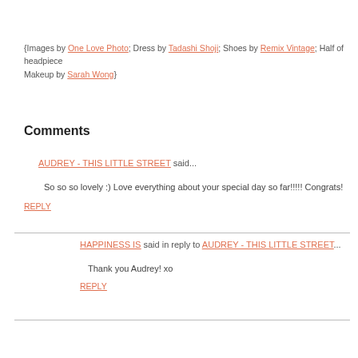{Images by One Love Photo; Dress by Tadashi Shoji; Shoes by Remix Vintage; Half of headpiece Makeup by Sarah Wong}
Comments
AUDREY - THIS LITTLE STREET said...
So so so lovely :) Love everything about your special day so far!!!!! Congrats!
REPLY
HAPPINESS IS said in reply to AUDREY - THIS LITTLE STREET...
Thank you Audrey! xo
REPLY